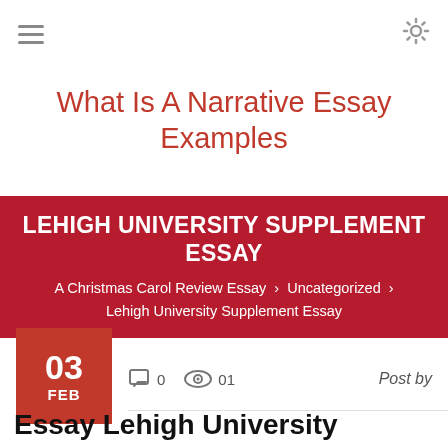≡  ⚙
What Is A Narrative Essay Examples
LEHIGH UNIVERSITY SUPPLEMENT ESSAY
A Christmas Carol Review Essay › Uncategorized › Lehigh University Supplement Essay
03 FEB  0  01  Post by
Essay Lehigh University Supplement